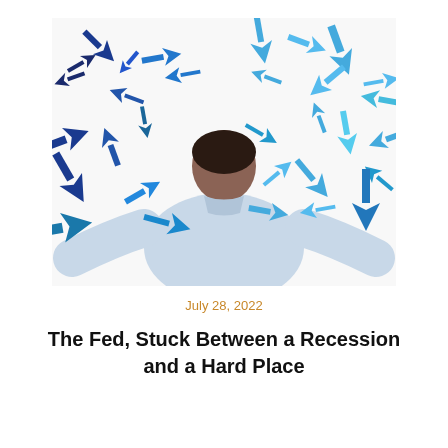[Figure (photo): Person seen from behind, wearing a light blue shirt with arms spread wide, facing a white background covered with many blue arrows of various sizes pointing in different directions.]
July 28, 2022
The Fed, Stuck Between a Recession and a Hard Place